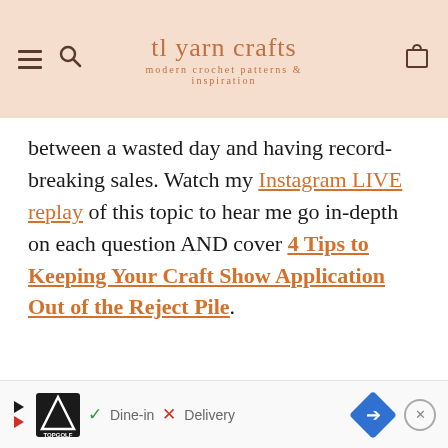tl yarn crafts — modern crochet patterns & inspiration
between a wasted day and having record-breaking sales. Watch my Instagram LIVE replay of this topic to hear me go in-depth on each question AND cover 4 Tips to Keeping Your Craft Show Application Out of the Reject Pile.
[Figure (other): Advertisement banner: TopGolf logo with Dine-in checkmark and Delivery X mark, navigation arrow icon, close button]